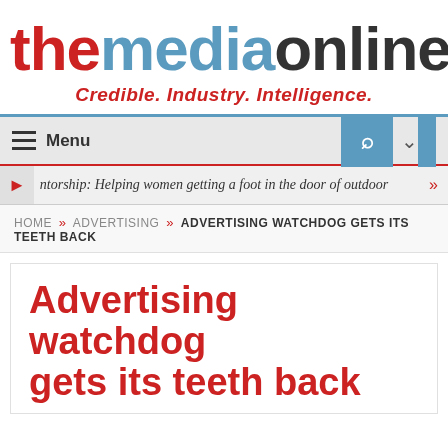[Figure (logo): The Media Online logo with tagline 'Credible. Industry. Intelligence.']
Menu | Search navigation bar
ntorship: Helping women getting a foot in the door of outdoor »
HOME » ADVERTISING » ADVERTISING WATCHDOG GETS ITS TEETH BACK
Advertising watchdog gets its teeth back